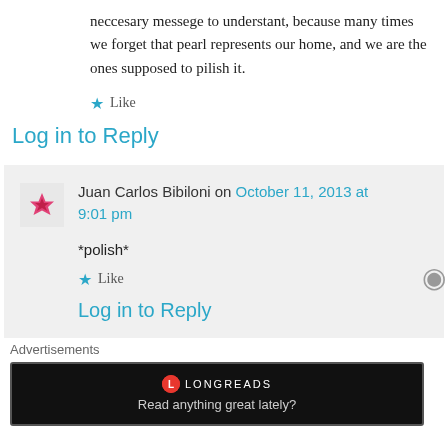neccesary messege to understant, because many times we forget that pearl represents our home, and we are the ones supposed to pilish it.
Like
Log in to Reply
Juan Carlos Bibiloni on October 11, 2013 at 9:01 pm
*polish*
Like
Log in to Reply
Advertisements
[Figure (screenshot): Longreads advertisement banner: red circle logo with L, text 'LONGREADS', tagline 'Read anything great lately?' on black background]